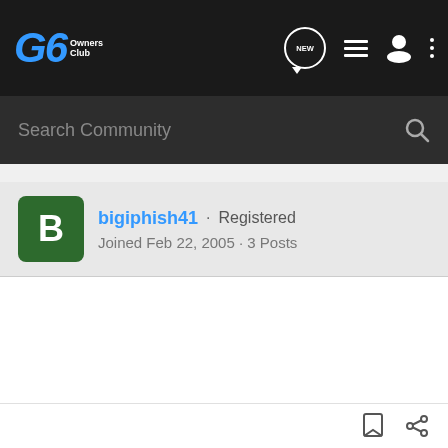G6 Owners Club
Search Community
bigiphish41 · Registered
Joined Feb 22, 2005 · 3 Posts
#13 · Feb 22, 2005
Buffalo, NY here cant wait for the warm weather though